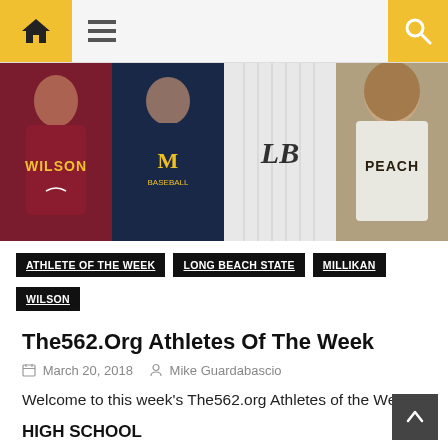Navigation bar with home, menu, and search icons
[Figure (photo): Four sports photos side by side: Wilson track athlete in red jersey, baseball player in dark uniform, baseball uniform close-up showing LB logo, and female athlete in white and gold jersey]
ATHLETE OF THE WEEK  LONG BEACH STATE  MILLIKAN  WILSON
The562.Org Athletes Of The Week
March 20, 2018   Mike Guardabascio
Welcome to this week's The562.org Athletes of the Week.
HIGH SCHOOL
Rachel Glenn, Wilson Track & Field
Wilson's Rachel Glenn planted a flag on Saturday at El Camino